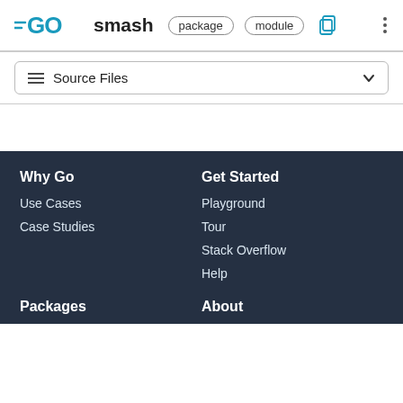GO smash  package  module
Source Files
Why Go
Use Cases
Case Studies
Get Started
Playground
Tour
Stack Overflow
Help
Packages
About